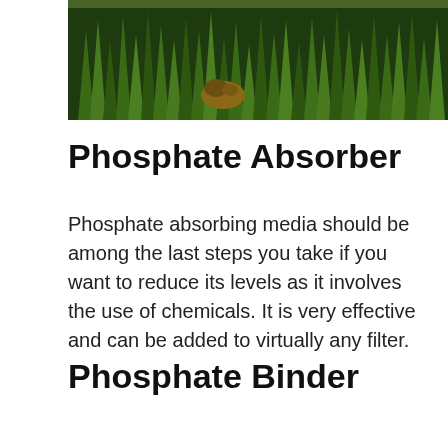[Figure (photo): Close-up photo of green aquatic grass/plants with a small brown snail or slug visible, in an aquarium setting.]
Phosphate Absorber
Phosphate absorbing media should be among the last steps you take if you want to reduce its levels as it involves the use of chemicals. It is very effective and can be added to virtually any filter.
Phosphate Binder